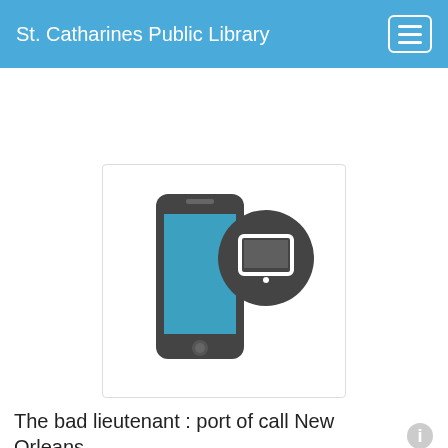St. Catharines Public Library
Borrow it
[Figure (illustration): Smartphone icon with a dark circular tablet/device badge overlay]
The bad lieutenant : port of call New Orleans, (electronic resource)
Contributor
hoopla digital